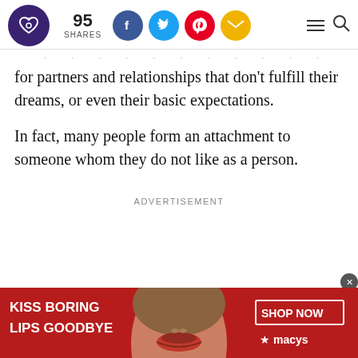95 SHARES [social icons: Facebook, Twitter, Pinterest, Email] [hamburger menu] [search]
for partners and relationships that don't fulfill their dreams, or even their basic expectations.
In fact, many people form an attachment to someone whom they do not like as a person.
ADVERTISEMENT
[Figure (infographic): Macy's advertisement banner: 'KISS BORING LIPS GOODBYE' with a woman's face showing red lips in center, and 'SHOP NOW / macys' button on the right, red background.]